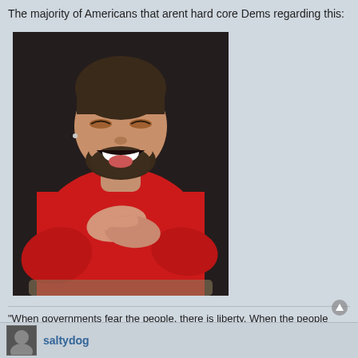The majority of Americans that arent hard core Dems regarding this:
[Figure (photo): A man in a red long-sleeve shirt laughing heartily with his hands crossed over his chest, head tilted back]
"When governments fear the people, there is liberty. When the people fear the government, there is tyranny."
saltydog